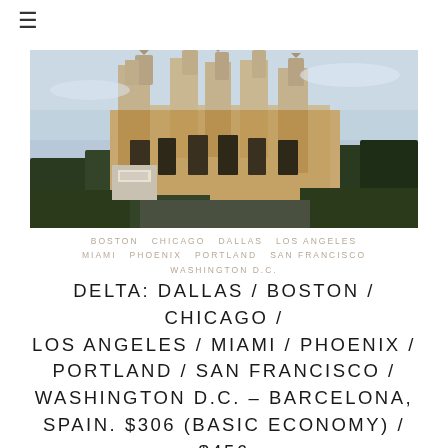≡
[Figure (photo): Photograph of the Sagrada Família basilica in Barcelona, Spain, showing the ornate Gothic spires against a light sky with trees in the foreground]
BOSTON  CHICAGO  DALLAS  LOS ANGELES  MIAMI  PHOENIX  PORTLAND  SAN FRANCISCO  WASHINGTON D.C.
DELTA: DALLAS / BOSTON / CHICAGO / LOS ANGELES / MIAMI / PHOENIX / PORTLAND / SAN FRANCISCO / WASHINGTON D.C. – BARCELONA, SPAIN. $306 (BASIC ECONOMY) / $456 (REGULAR ECONOMY). ROUNDTRIP, INCLUDING ALL TAXES